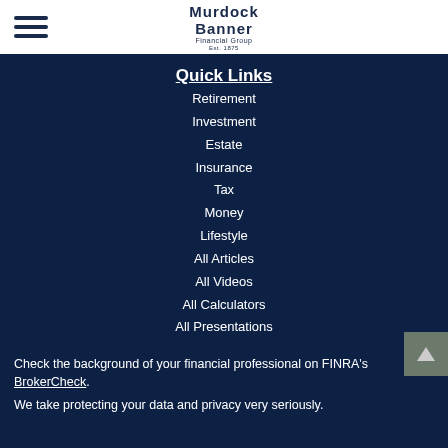[Figure (logo): Murdock Banner Financial Group Est. 1875 logo with hamburger menu icon on the left]
Quick Links
Retirement
Investment
Estate
Insurance
Tax
Money
Lifestyle
All Articles
All Videos
All Calculators
All Presentations
Check the background of your financial professional on FINRA's BrokerCheck.
We take protecting your data and privacy very seriously.